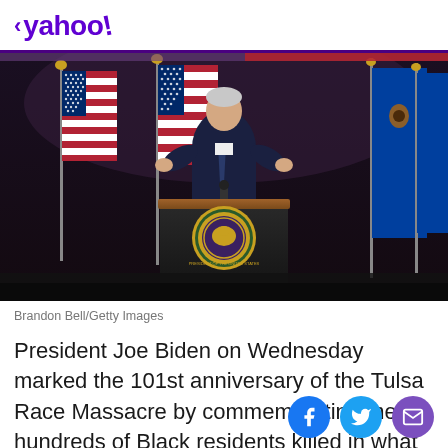< yahoo!
[Figure (photo): President Joe Biden speaking at a podium with the Presidential seal, with American flags and Oklahoma state flags in the background, at a dark-lit venue]
Brandon Bell/Getty Images
President Joe Biden on Wednesday marked the 101st anniversary of the Tulsa Race Massacre by commemorating the hundreds of Black residents killed in what was among the worst incidents of racial violence in